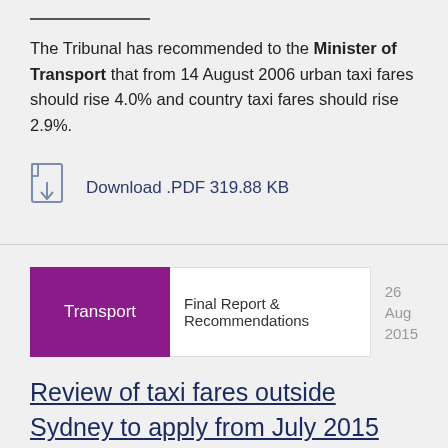The Tribunal has recommended to the Minister of Transport that from 14 August 2006 urban taxi fares should rise 4.0% and country taxi fares should rise 2.9%.
Download .PDF 319.88 KB
Transport | Final Report & Recommendations | 26 Aug 2015
Review of taxi fares outside Sydney to apply from July 2015